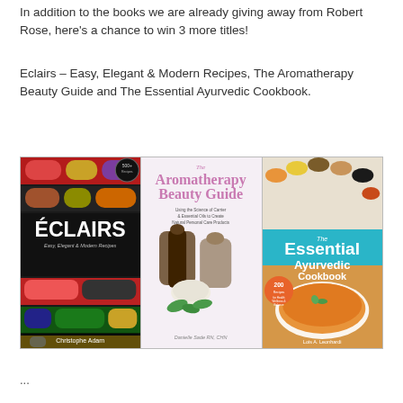In addition to the books we are already giving away from Robert Rose, here's a chance to win 3 more titles!
Eclairs – Easy, Elegant & Modern Recipes, The Aromatherapy Beauty Guide and The Essential Ayurvedic Cookbook.
[Figure (photo): Three book covers displayed side by side: (1) Éclairs – Easy, Elegant & Modern Recipes by Christophe Adam, (2) The Aromatherapy Beauty Guide by Danielle Sade, (3) The Essential Ayurvedic Cookbook by Lois A. Leonhardi]
...